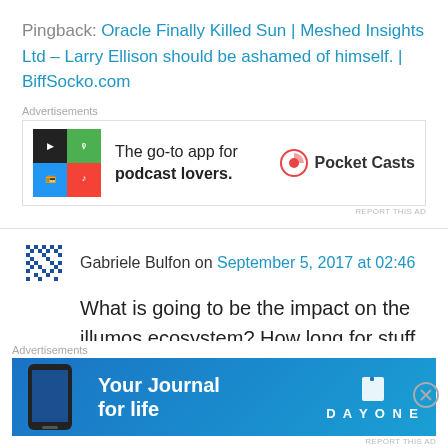Pingback: Oracle Finally Killed Sun | Meshed Insights Ltd – Larry Ellison should be ashamed of himself. | BiffSocko.com
[Figure (screenshot): Advertisement banner for Pocket Casts: app icon grid on left, text 'The go-to app for podcast lovers.' and Pocket Casts logo on right]
Gabriele Bulfon on September 5, 2017 at 02:46
What is going to be the impact on the illumos ecosystem? How long for stuff like VMware to stop support for Solaris based kernels? What would be the best move for an illumos distro
[Figure (screenshot): Bottom advertisement banner for Day One 'Your Journal for life' with phone image and Day One logo]